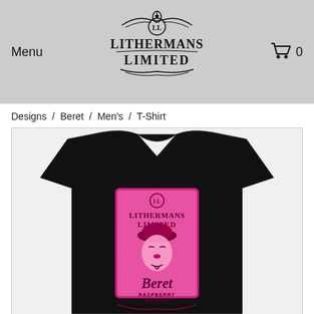Menu   Lithermans Limited   0
Designs / Beret / Men's / T-Shirt
[Figure (photo): Black t-shirt with pink Lithermans Limited Beret Raspberry Saison graphic print showing a stylized figure wearing a beret]